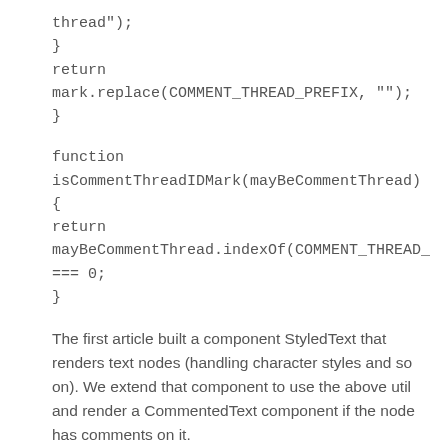thread");
}
return mark.replace(COMMENT_THREAD_PREFIX, "");
}
function isCommentThreadIDMark(mayBeCommentThread) {
return mayBeCommentThread.indexOf(COMMENT_THREAD_
=== 0;
}
The first article built a component StyledText that renders text nodes (handling character styles and so on). We extend that component to use the above util and render a CommentedText component if the node has comments on it.
# src/components/StyledText.js